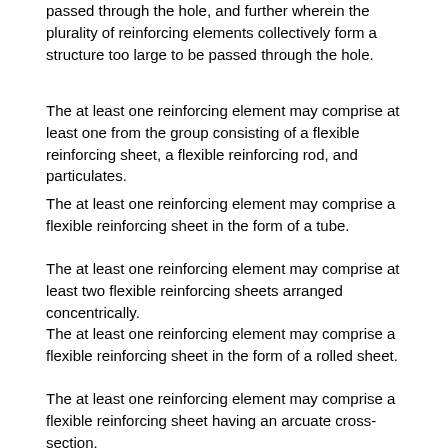passed through the hole, and further wherein the plurality of reinforcing elements collectively form a structure too large to be passed through the hole.
The at least one reinforcing element may comprise at least one from the group consisting of a flexible reinforcing sheet, a flexible reinforcing rod, and particulates.
The at least one reinforcing element may comprise a flexible reinforcing sheet in the form of a tube.
The at least one reinforcing element may comprise at least two flexible reinforcing sheets arranged concentrically.
The at least one reinforcing element may comprise a flexible reinforcing sheet in the form of a rolled sheet.
The at least one reinforcing element may comprise a flexible reinforcing sheet having an arcuate cross-section.
The at least one reinforcing element may comprise a flexible reinforcing sheet having a planar cross-section.
The at least one reinforcing element may comprise a flexible reinforcing sheet comprising filaments formed into a textile.